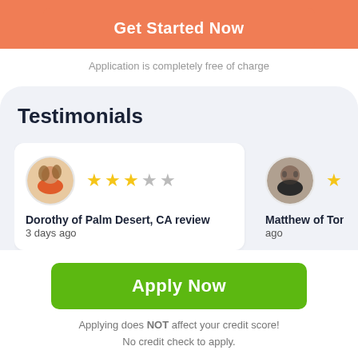Get Started Now
Application is completely free of charge
Testimonials
Dorothy of Palm Desert, CA review
3 days ago
Matthew of Toney, A...
ago
Apply Now
Applying does NOT affect your credit score!
No credit check to apply.